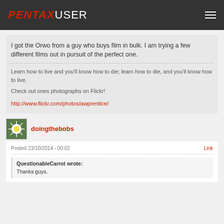PENTAXUSER
I got the Orwo from a guy who buys film in bulk. I am trying a few different films out in pursuit of the perfect one.
Learn how to live and you'll know how to die; learn how to die, and you'll know how to live.

Check out ones photographs on Flickr!

http://www.flickr.com/photos/awprentice/
doingthebobs
Posted 23/10/2014 - 00:02
QuestionableCarrot wrote:
Thanks guys.